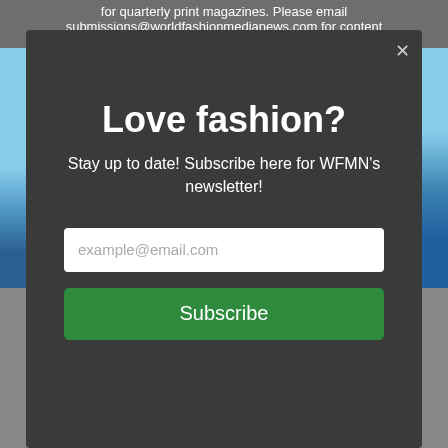for quarterly print magazines. Please email submissions@worldfashionmedianews.com for content
[Figure (photo): Partial cityscape/skyline photo with blue sky and water reflection, visible on left and right edges behind modal overlay]
Love fashion?
Stay up to date! Subscribe here for WFMN's newsletter!
example@email.com
Subscribe